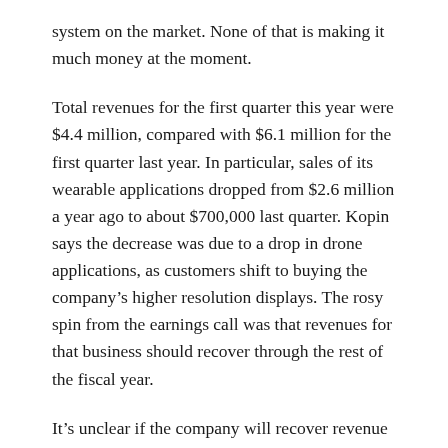system on the market. None of that is making it much money at the moment.
Total revenues for the first quarter this year were $4.4 million, compared with $6.1 million for the first quarter last year. In particular, sales of its wearable applications dropped from $2.6 million a year ago to about $700,000 last quarter. Kopin says the decrease was due to a drop in drone applications, as customers shift to buying the company’s higher resolution displays. The rosy spin from the earnings call was that revenues for that business should recover through the rest of the fiscal year.
It’s unclear if the company will recover revenue from customers like the Department of Defense or prime defense contractors like Raytheon. This is also not an encouraging graphic.